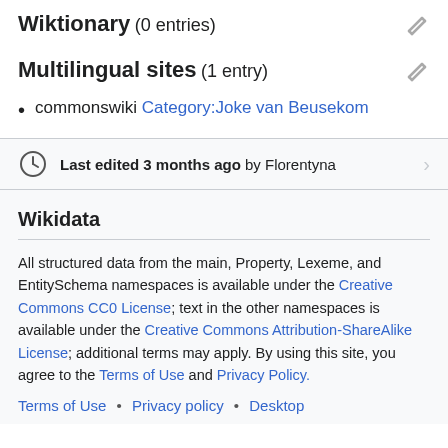Wiktionary (0 entries)
Multilingual sites (1 entry)
commonswiki Category:Joke van Beusekom
Last edited 3 months ago by Florentyna
Wikidata
All structured data from the main, Property, Lexeme, and EntitySchema namespaces is available under the Creative Commons CC0 License; text in the other namespaces is available under the Creative Commons Attribution-ShareAlike License; additional terms may apply. By using this site, you agree to the Terms of Use and Privacy Policy.
Terms of Use • Privacy policy • Desktop